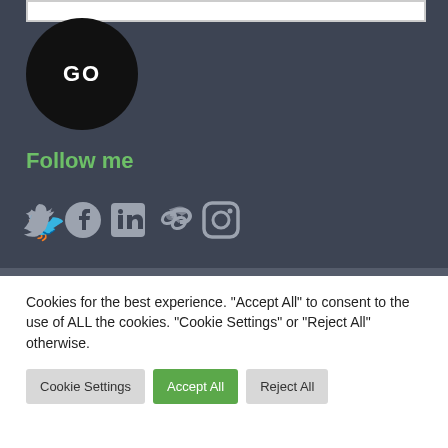[Figure (other): GO button - black rounded pill/circle button with white text GO]
Follow me
[Figure (other): Social media icons: Twitter, Facebook, LinkedIn, Link, Instagram, YouTube - all in light gray/white on dark background]
Cookies for the best experience. "Accept All" to consent to the use of ALL the cookies. "Cookie Settings" or "Reject All" otherwise.
Cookie Settings | Accept All | Reject All